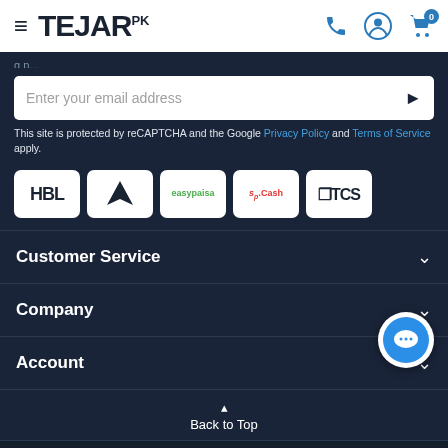TEJAR PK
Enter your email address
This site is protected by reCAPTCHA and the Google Privacy Policy and Terms of Service apply.
[Figure (logo): Payment logos: HBL, Askari Bank, easypaisa, SadaPay/SoCash, TCS]
Customer Service
Company
Account
Back to Top
© 2022 Tejar.pk